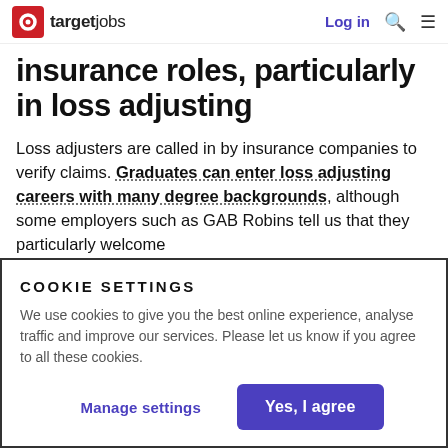targetjobs — Log in
insurance roles, particularly in loss adjusting
Loss adjusters are called in by insurance companies to verify claims. Graduates can enter loss adjusting careers with many degree backgrounds, although some employers such as GAB Robins tell us that they particularly welcome
COOKIE SETTINGS
We use cookies to give you the best online experience, analyse traffic and improve our services. Please let us know if you agree to all these cookies.
Manage settings
Yes, I agree